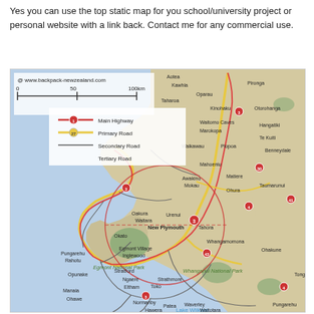Yes you can use the top static map for you school/university project or personal website with a link back. Contact me for any commercial use.
[Figure (map): Static map of the Taranaki/Whanganui region of New Zealand's North Island showing roads, towns, national parks, and a circular region highlighted around New Plymouth/Urenui. Legend shows Main Highway, Primary Road, Secondary Road, Tertiary Road. Map credit: www.backpack-newzealand.com with scale bar 0-50-100km.]